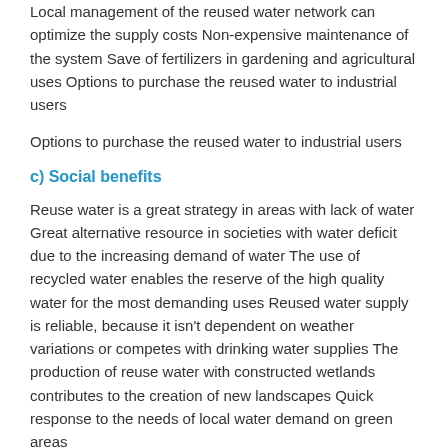Local management of the reused water network can optimize the supply costs Non-expensive maintenance of the system Save of fertilizers in gardening and agricultural uses Options to purchase the reused water to industrial users
Options to purchase the reused water to industrial users
c) Social benefits
Reuse water is a great strategy in areas with lack of water Great alternative resource in societies with water deficit due to the increasing demand of water The use of recycled water enables the reserve of the high quality water for the most demanding uses Reused water supply is reliable, because it isn’t dependent on weather variations or competes with drinking water supplies The production of reuse water with constructed wetlands contributes to the creation of new landscapes Quick response to the needs of local water demand on green areas
Quick response to the needs of local water demand on green areas
10. DISADVANTATGES/LIMITS